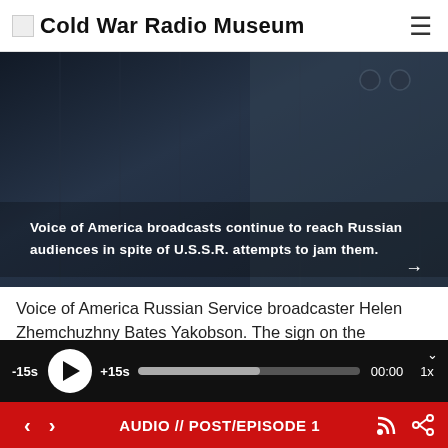Cold War Radio Museum
[Figure (screenshot): Dark film still showing a person in a suit jacket with overlaid white text reading: 'Voice of America broadcasts continue to reach Russian audiences in spite of U.S.S.R. attempts to jam them.' with an arrow pointing right at bottom.]
Voice of America Russian Service broadcaster Helen Zhemchuzhny Bates Yakobson. The sign on the microphone says: “The Voice of the United
[Figure (screenshot): Audio player bar with -15s, play button, +15s, progress bar, 00:00 time display, and 1x speed control on dark background.]
AUDIO // POST/EPISODE 1